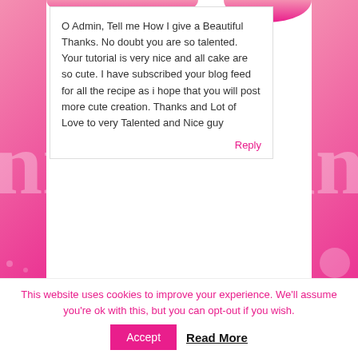O Admin, Tell me How I give a Beautiful Thanks. No doubt you are so talented. Your tutorial is very nice and all cake are so cute. I have subscribed your blog feed for all the recipe as i hope that you will post more cute creation. Thanks and Lot of Love to very Talented and Nice guy
Reply
niner bakes
Friday January 11th, 2013 at 12:37
Hi Alice, thanks for your visit and for your kind words, thank you so much!
Blessings,
niner
Reply
This website uses cookies to improve your experience. We'll assume you're ok with this, but you can opt-out if you wish.
Accept
Read More